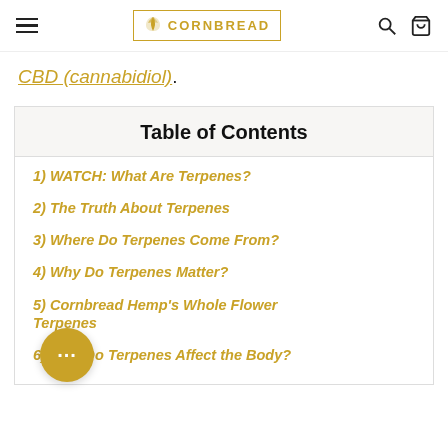Cornbread Hemp navigation bar with hamburger menu, logo, search and cart icons
CBD (cannabidiol).
Table of Contents
1) WATCH: What Are Terpenes?
2) The Truth About Terpenes
3) Where Do Terpenes Come From?
4) Why Do Terpenes Matter?
5) Cornbread Hemp's Whole Flower [T]erpenes
6) How Do Terpenes Affect the Body?